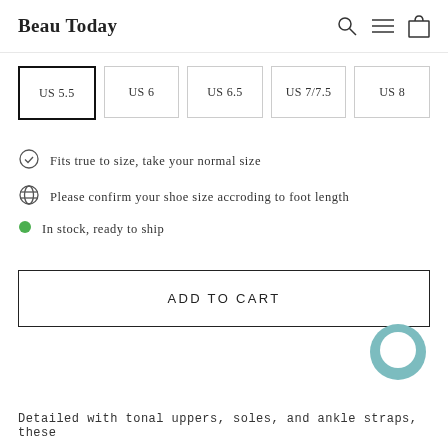Beau Today
US 5.5
US 6
US 6.5
US 7/7.5
US 8
Fits true to size, take your normal size
Please confirm your shoe size accroding to foot length
In stock, ready to ship
ADD TO CART
[Figure (illustration): Teal/muted-blue chat bubble icon]
Detailed with tonal uppers, soles, and ankle straps, these